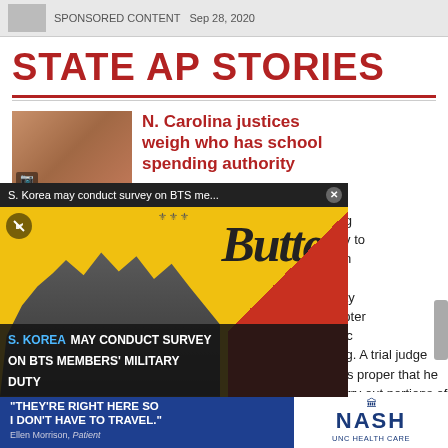SPONSORED CONTENT  Sep 28, 2020
STATE AP STORIES
N. Carolina justices weigh who has school spending authority
[Figure (screenshot): BTS Butter music video popup overlay with S. Korea may conduct survey on BTS members' military duty headline]
court is considering nd taxpayer money to o address stubborn he state Supreme ents on Wednesday ule in another chapter struggle over public education spending. A trial judge said last year it was proper that he move money to carry out portions of a multibillion-dollar education at
[Figure (photo): Nash UNC Health Care advertisement banner: They're right here so I don't have to travel. - Ellen Morrison, Patient]